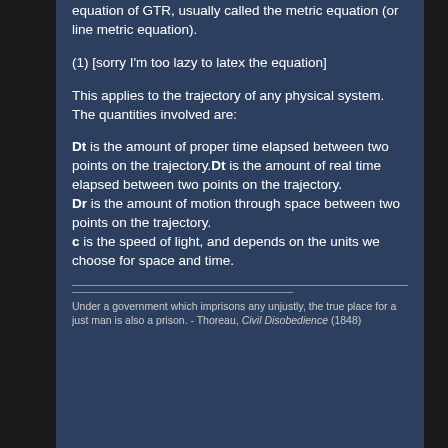equation of GTR, usually called the metric equation (or line metric equation).
This applies to the trajectory of any physical system. The quantities involved are:
Dt is the amount of proper time elapsed between two points on the trajectory.Dt is the amount of real time elapsed between two points on the trajectory.
Dr is the amount of motion through space between two points on the trajectory.
c is the speed of light, and depends on the units we choose for space and time.
Under a government which imprisons any unjustly, the true place for a just man is also a prison. - Thoreau, Civil Disobedience (1848)